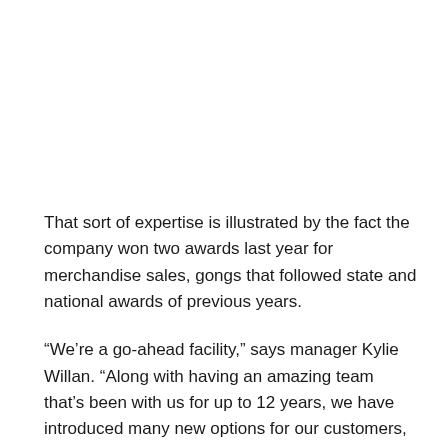That sort of expertise is illustrated by the fact the company won two awards last year for merchandise sales, gongs that followed state and national awards of previous years.
“We’re a go-ahead facility,” says manager Kylie Willan. “Along with having an amazing team that’s been with us for up to 12 years, we have introduced many new options for our customers, staying on top of needs as they arise.”